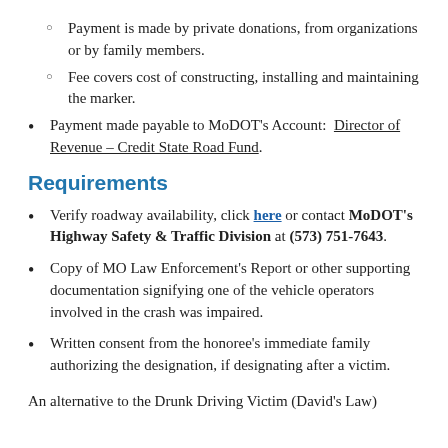Payment is made by private donations, from organizations or by family members.
Fee covers cost of constructing, installing and maintaining the marker.
Payment made payable to MoDOT's Account: Director of Revenue – Credit State Road Fund.
Requirements
Verify roadway availability, click here or contact MoDOT's Highway Safety & Traffic Division at (573) 751-7643.
Copy of MO Law Enforcement's Report or other supporting documentation signifying one of the vehicle operators involved in the crash was impaired.
Written consent from the honoree's immediate family authorizing the designation, if designating after a victim.
An alternative to the Drunk Driving Victim (David's Law)